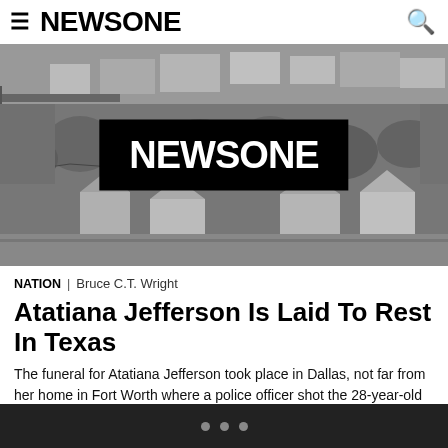NEWSONE
[Figure (photo): Aerial black-and-white photograph of a residential neighborhood with houses, trees, and streets. A large NEWSONE logo in white text on a black rectangle is overlaid in the center of the image.]
NATION | Bruce C.T. Wright
Atatiana Jefferson Is Laid To Rest In Texas
The funeral for Atatiana Jefferson took place in Dallas, not far from her home in Fort Worth where a police officer shot the 28-year-old in front of her young nephew. Here are photos and video from her service.